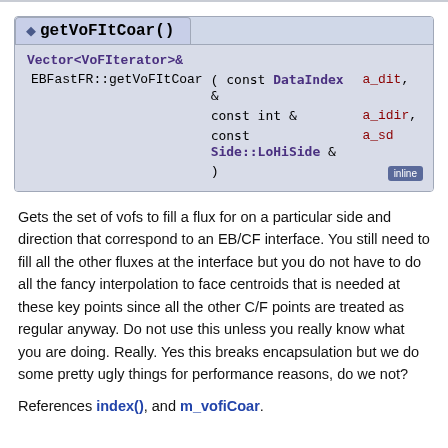getVoFItCoar()
Vector<VoFIterator>& EBFastFR::getVoFItCoar ( const DataIndex & a_dit, const int & a_idir, const Side::LoHiSide & a_sd ) inline
Gets the set of vofs to fill a flux for on a particular side and direction that correspond to an EB/CF interface. You still need to fill all the other fluxes at the interface but you do not have to do all the fancy interpolation to face centroids that is needed at these key points since all the other C/F points are treated as regular anyway. Do not use this unless you really know what you are doing. Really. Yes this breaks encapsulation but we do some pretty ugly things for performance reasons, do we not?
References index(), and m_vofiCoar.